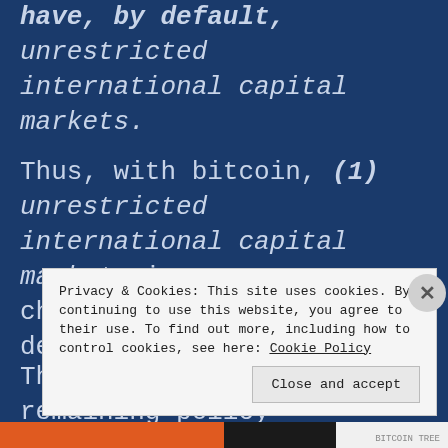have, by default, unrestricted international capital markets.
Thus, with bitcoin, (1) unrestricted international capital markets is chosen by default.
Therefore, the only remaining policy choice is between (2) managed exchange
Privacy & Cookies: This site uses cookies. By continuing to use this website, you agree to their use. To find out more, including how to control cookies, see here: Cookie Policy